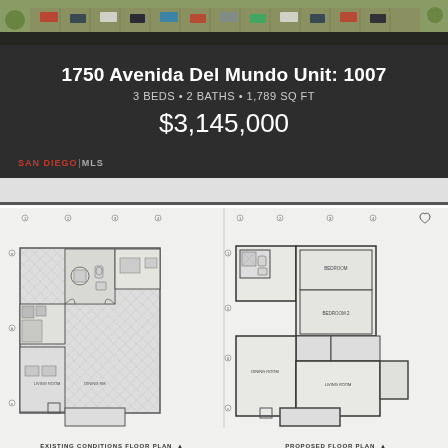[Figure (photo): Aerial/overhead photograph of a parking lot with cars, used as background header image for the property listing]
1750 Avenida Del Mundo Unit: 1007
3 BEDS • 2 BATHS • 1,789 SQ FT
$3,145,000
[Figure (engineering-diagram): Side-by-side architectural floor plan drawings: left side shows 'Existing Conditions Floor Plan' and right side shows 'Proposed Floor Plan' for the unit at 1750 Avenida Del Mundo, Unit 1007]
EXISTING CONDITIONS FLOOR PLAN
PROPOSED FLOOR PLAN